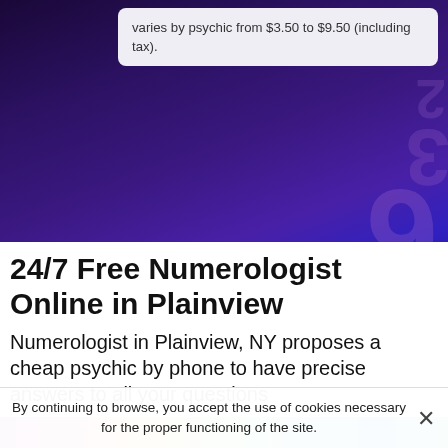varies by psychic from $3.50 to $9.50 (including tax).
[Figure (illustration): Dark purple/blue swirling background with large semi-transparent numerals (6, 3, 2, 38, 971, 5210, 1248) overlaid in a decorative pattern]
24/7 Free Numerologist Online in Plainview
Numerologist in Plainview, NY proposes a cheap psychic by phone to have precise answers to all your questions
[Figure (illustration): Colorful gradient bar with purple, pink, orange, green, teal, and blue hues]
By continuing to browse, you accept the use of cookies necessary for the proper functioning of the site.